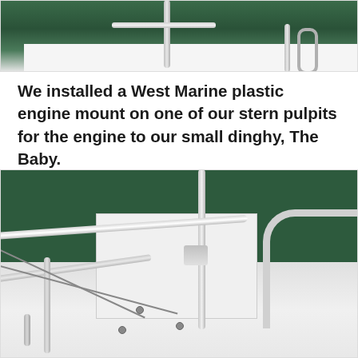[Figure (photo): Close-up photo of stainless steel stern pulpit railings on a sailboat with dark green bimini cover and white fiberglass deck visible]
We installed a West Marine plastic engine mount on one of our stern pulpits for the engine to our small dinghy, The Baby.
[Figure (photo): Close-up photo of stainless steel stern pulpit railings from a lower angle, showing white fiberglass deck, a fitting/mount, cables, and dark green bimini or canvas cover in background]